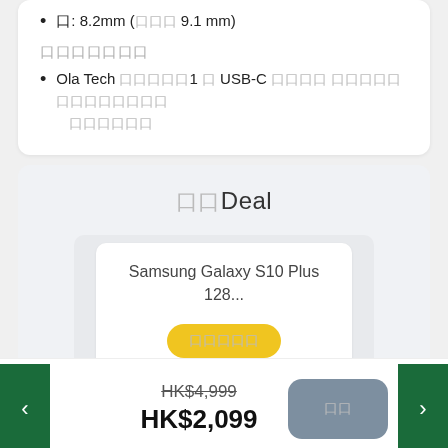口: 8.2mm (口口口 9.1 mm)
口口口口口口口
Ola Tech 口口口口口1 口 USB-C 口口口口 口口口口口口口口口口口口口 口口口口口口
口口Deal
Samsung Galaxy S10 Plus 128...
口口口口口
HK$4,999
HK$2,099
口口